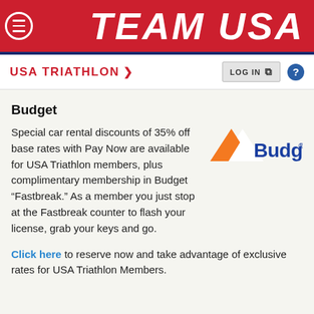TEAM USA
USA TRIATHLON >
Budget
Special car rental discounts of 35% off base rates with Pay Now are available for USA Triathlon members, plus complimentary membership in Budget “Fastbreak.” As a member you just stop at the Fastbreak counter to flash your license, grab your keys and go.
[Figure (logo): Budget car rental logo with orange triangle and blue text]
Click here to reserve now and take advantage of exclusive rates for USA Triathlon Members.